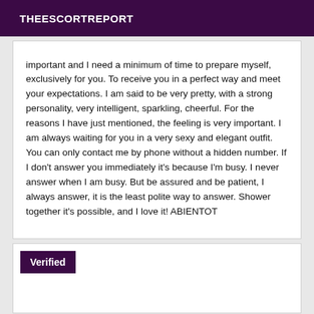THEESCORTREPORT
important and I need a minimum of time to prepare myself, exclusively for you. To receive you in a perfect way and meet your expectations. I am said to be very pretty, with a strong personality, very intelligent, sparkling, cheerful. For the reasons I have just mentioned, the feeling is very important. I am always waiting for you in a very sexy and elegant outfit. You can only contact me by phone without a hidden number. If I don't answer you immediately it's because I'm busy. I never answer when I am busy. But be assured and be patient, I always answer, it is the least polite way to answer. Shower together it's possible, and I love it! ABIENTOT
Verified